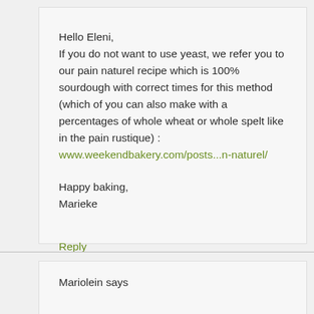Hello Eleni,
If you do not want to use yeast, we refer you to our pain naturel recipe which is 100% sourdough with correct times for this method (which of you can also make with a percentages of whole wheat or whole spelt like in the pain rustique) :
www.weekendbakery.com/posts...n-naturel/

Happy baking,
Marieke
Reply
Mariolein says